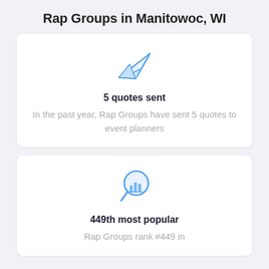Rap Groups in Manitowoc, WI
[Figure (illustration): Paper airplane icon in blue outline style]
5 quotes sent
In the past year, Rap Groups have sent 5 quotes to event planners
[Figure (illustration): Magnifying glass with bar chart inside, blue outline style]
449th most popular
Rap Groups rank #449 in